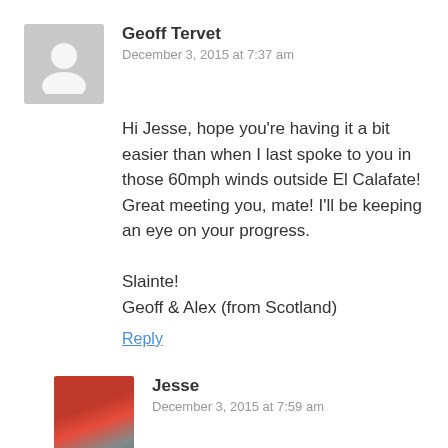[Figure (photo): Grey placeholder avatar silhouette icon]
Geoff Tervet
December 3, 2015 at 7:37 am
Hi Jesse, hope you’re having it a bit easier than when I last spoke to you in those 60mph winds outside El Calafate! Great meeting you, mate! I’ll be keeping an eye on your progress.

Slainte!
Geoff & Alex (from Scotland)
Reply
[Figure (photo): Photo of Jesse wearing a red cap and red jacket outdoors]
Jesse
December 3, 2015 at 7:59 am